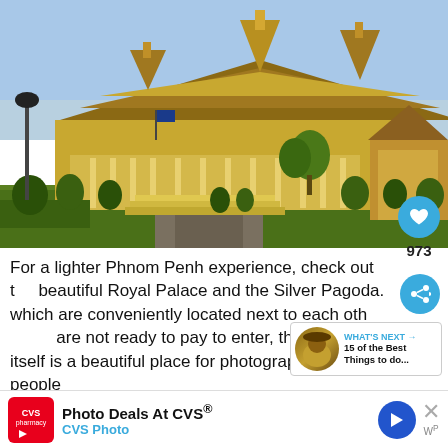[Figure (photo): Photo of the Royal Palace in Phnom Penh, Cambodia. A grand golden multi-tiered Khmer-style palace with ornate spires rises against a light blue sky. Manicured green hedges, topiary trees, and a wide driveway are in the foreground. Another ornate building is visible on the right side.]
For a lighter Phnom Penh experience, check out the beautiful Royal Palace and the Silver Pagoda. which are conveniently located next to each other. If you are not ready to pay to enter, the entrance itself is a beautiful place for photography or simply people
[Figure (infographic): WHAT'S NEXT panel: circular thumbnail image of a person with hat, text reading 'WHAT'S NEXT → 15 of the Best Things to do...']
[Figure (infographic): Advertisement bar: CVS Pharmacy logo, 'Photo Deals At CVS®', 'CVS Photo', navigation arrow icon, and close X button]